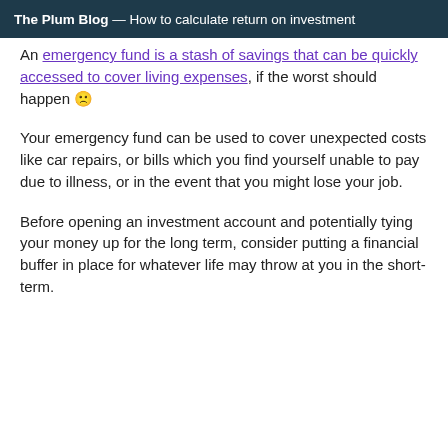The Plum Blog — How to calculate return on investment
An emergency fund is a stash of savings that can be quickly accessed to cover living expenses, if the worst should happen 🙁
Your emergency fund can be used to cover unexpected costs like car repairs, or bills which you find yourself unable to pay due to illness, or in the event that you might lose your job.
Before opening an investment account and potentially tying your money up for the long term, consider putting a financial buffer in place for whatever life may throw at you in the short-term.